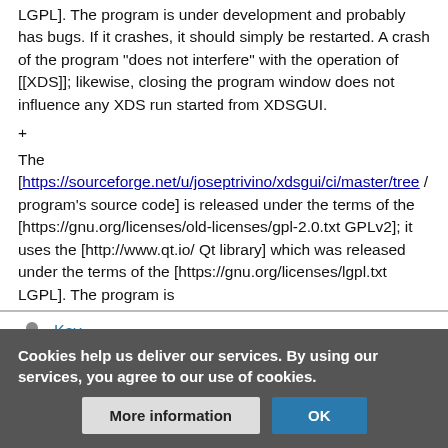LGPL]. The program is under development and probably has bugs. If it crashes, it should simply be restarted. A crash of the program "does not interfere" with the operation of [[XDS]]; likewise, closing the program window does not influence any XDS run started from XDSGUI.
+
The [https://sourceforge.net/u/joseptrivino/xdsgui/ci/master/tree / program's source code] is released under the terms of the [https://gnu.org/licenses/old-licenses/gpl-2.0.txt GPLv2]; it uses the [http://www.qt.io/ Qt library] which was released under the terms of the [https://gnu.org/licenses/lgpl.txt LGPL]. The program is
Kay
BUREAUCRATS
Cookies help us deliver our services. By using our services, you agree to our use of cookies.